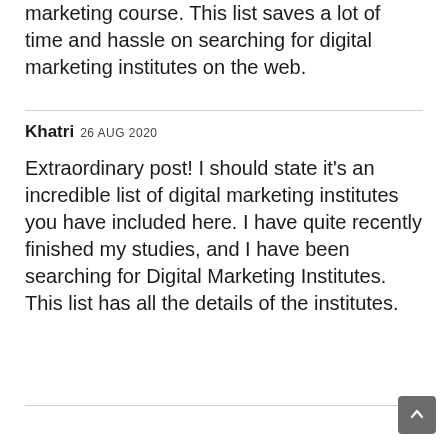marketing course. This list saves a lot of time and hassle on searching for digital marketing institutes on the web.
Khatri 26 AUG 2020
Extraordinary post! I should state it's an incredible list of digital marketing institutes you have included here. I have quite recently finished my studies, and I have been searching for Digital Marketing Institutes. This list has all the details of the institutes.